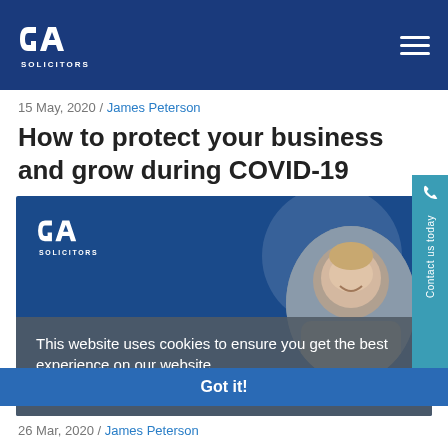[Figure (logo): GA Solicitors logo in white on dark blue navigation bar]
15 May, 2020 / James Peterson
How to protect your business and grow during COVID-19
[Figure (photo): GA Solicitors branded image with logo on blue background and circular photo of James Peterson smiling in a suit]
This website uses cookies to ensure you get the best experience on our website. Learn more
Got it!
26 Mar, 2020 / James Peterson